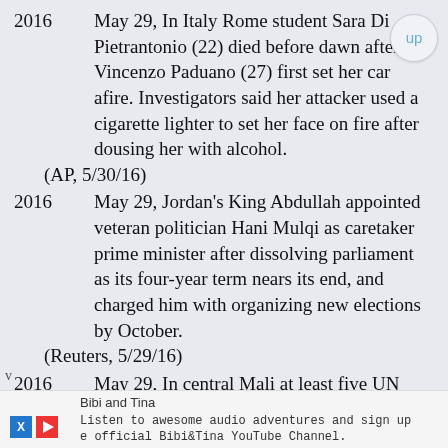2016   May 29, In Italy Rome student Sara Di Pietrantonio (22) died before dawn after Vincenzo Paduano (27) first set her car afire. Investigators said her attacker used a cigarette lighter to set her face on fire after dousing her with alcohol.
    (AP, 5/30/16)
2016   May 29, Jordan's King Abdullah appointed veteran politician Hani Mulqi as caretaker prime minister after dissolving parliament as its four-year term nears its end, and charged him with organizing new elections by October.
    (Reuters, 5/29/16)
2016   May 29, In central Mali at least five UN peacekeepers were killed in an ambush by suspected militants some 50 km out of Mopti.
    (AFP, 5/29/16)
2016   May 29, Nigerian President Muhammadu Buhari vowed to keep and "re-engineer" a controversial amnesty program for Niger delta militants designed to stem attacks…
[Figure (other): Advertisement bar at bottom: Bibi and Tina. Listen to awesome audio adventures and sign up. e official Bibi&Tina YouTube Channel. With X and play button icons.]